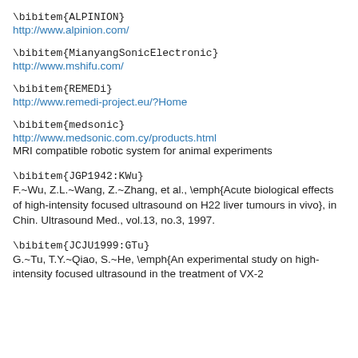\bibitem{ALPINION}
http://www.alpinion.com/
\bibitem{MianyangSonicElectronic}
http://www.mshifu.com/
\bibitem{REMEDi}
http://www.remedi-project.eu/?Home
\bibitem{medsonic}
http://www.medsonic.com.cy/products.html
MRI compatible robotic system for animal experiments
\bibitem{JGP1942:KWu}
F.~Wu, Z.L.~Wang, Z.~Zhang, et al., \emph{Acute biological effects of high-intensity focused ultrasound on H22 liver tumours in vivo}, in Chin. Ultrasound Med., vol.13, no.3, 1997.
\bibitem{JCJU1999:GTu}
G.~Tu, T.Y.~Qiao, S.~He, \emph{An experimental study on high-intensity focused ultrasound in the treatment of VX-2